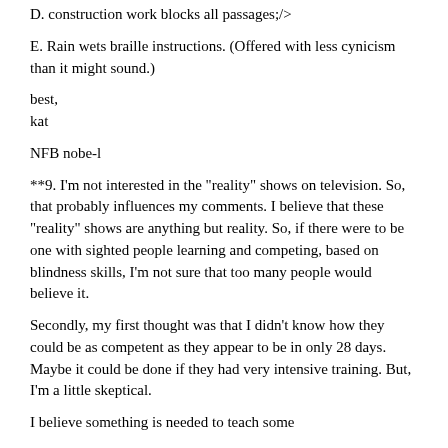D. construction work blocks all passages;/>
E. Rain wets braille instructions. (Offered with less cynicism than it might sound.)
best,
kat
NFB nobe-l
**9. I'm not interested in the "reality" shows on television. So, that probably influences my comments. I believe that these "reality" shows are anything but reality. So, if there were to be one with sighted people learning and competing, based on blindness skills, I'm not sure that too many people would believe it.
Secondly, my first thought was that I didn't know how they could be as competent as they appear to be in only 28 days. Maybe it could be done if they had very intensive training. But, I'm a little skeptical.
I believe something is needed to teach some